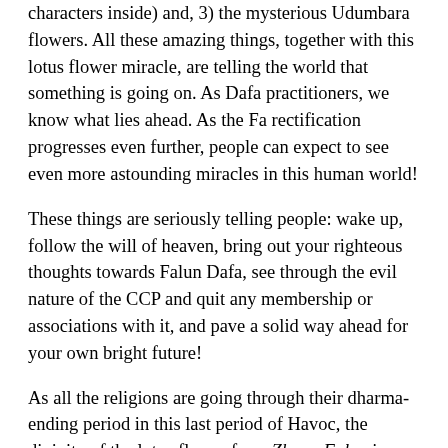characters inside) and, 3) the mysterious Udumbara flowers. All these amazing things, together with this lotus flower miracle, are telling the world that something is going on. As Dafa practitioners, we know what lies ahead. As the Fa rectification progresses even further, people can expect to see even more astounding miracles in this human world!
These things are seriously telling people: wake up, follow the will of heaven, bring out your righteous thoughts towards Falun Dafa, see through the evil nature of the CCP and quit any membership or associations with it, and pave a solid way ahead for your own bright future!
As all the religions are going through their dharma-ending period in this last period of Havoc, the divinity of the lotus flower from Zhuan Falun is undoubtedly showing people of various religions something of great significance. As for Dafa practitioners, the lotus flower is telling us that we must cherish our cultivation experiences during this period of historical significance. We need to study Zhuan Falun even